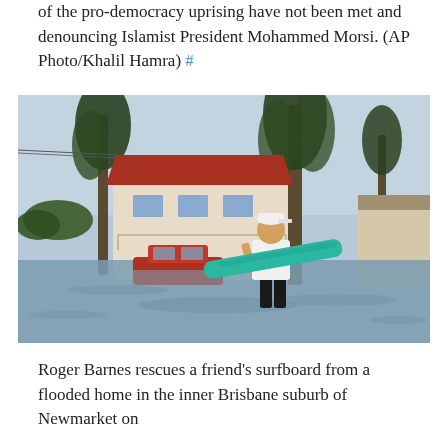of the pro-democracy uprising have not been met and denouncing Islamist President Mohammed Morsi. (AP Photo/Khalil Hamra) #
[Figure (photo): A man carrying a teal surfboard wades through floodwater in a suburban Brisbane street. A partially submerged red car and a house with a red roof are visible in the background, along with tall eucalyptus trees and overcast sky.]
Roger Barnes rescues a friend's surfboard from a flooded home in the inner Brisbane suburb of Newmarket on